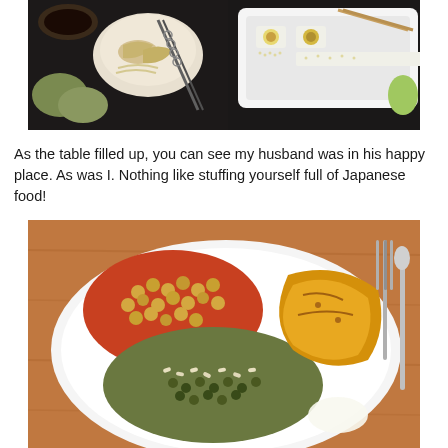[Figure (photo): Top-down view of a Japanese meal spread on a dark table: dishes with dumplings/gyoza, sushi rolls with chopsticks on a white rectangular plate, a small bowl of soy sauce, and tempura or other items.]
As the table filled up, you can see my husband was in his happy place. As was I. Nothing like stuffing yourself full of Japanese food!
[Figure (photo): Close-up of a white plate containing a colorful dish with chickpeas in tomato sauce, lentils, brown rice, and roasted potato wedges. A fork and spoon are visible to the right on a wooden surface.]